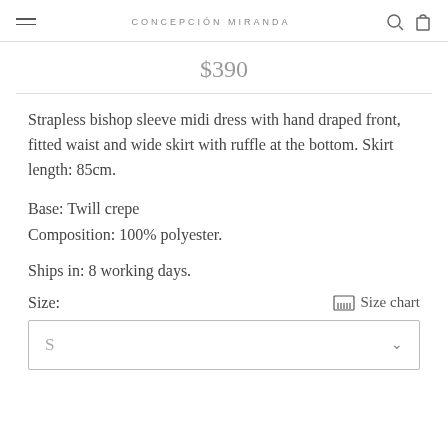CONCEPCIÓN MIRANDA
$390
Strapless bishop sleeve midi dress with hand draped front, fitted waist and wide skirt with ruffle at the bottom. Skirt length: 85cm.
Base: Twill crepe
Composition: 100% polyester.
Ships in: 8 working days.
Size:
Size chart
S